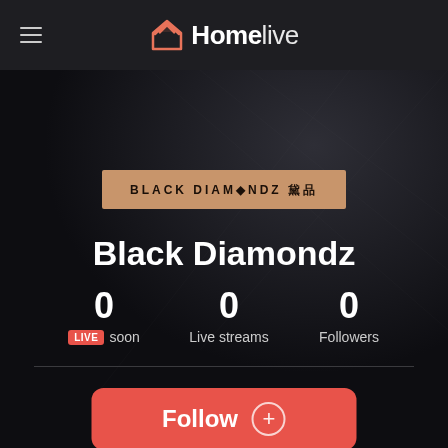Homelive
[Figure (logo): Black Diamondz brand logo banner with copper/tan background]
Black Diamondz
0 LIVE soon   0 Live streams   0 Followers
[Figure (other): Follow button with plus icon]